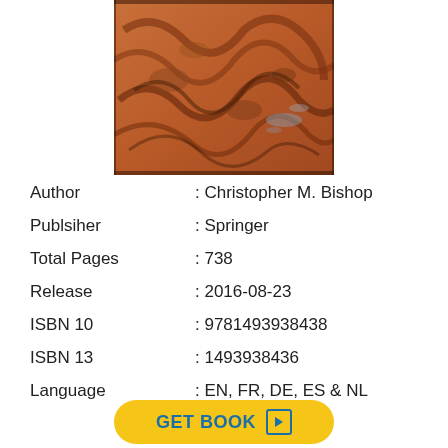[Figure (photo): Book cover image showing an abstract reddish-brown textured surface, resembling aerial or geological imagery.]
Author : Christopher M. Bishop
Publsiher : Springer
Total Pages : 738
Release : 2016-08-23
ISBN 10 : 9781493938438
ISBN 13 : 1493938436
Language : EN, FR, DE, ES & NL
GET BOOK